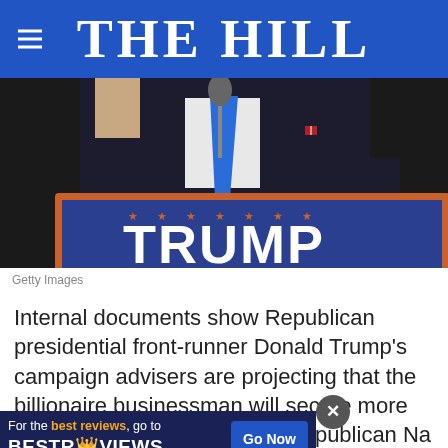THE HILL
[Figure (photo): A man in a dark suit and blue tie at a podium with a Trump campaign sign (red, white, blue with stars) visible in the foreground. The image is cropped showing the torso and sign.]
Getty Images
Internal documents show Republican presidential front-runner Donald Trump's campaign advisers are projecting that the billionaire businessman will secure more than 1,400 delegates at the Republican National Conv... repor...